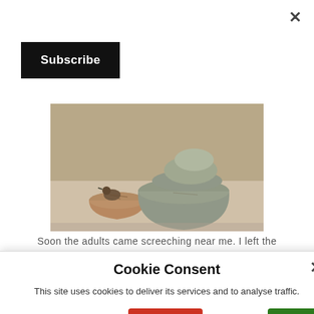×
Subscribe
[Figure (photo): Two stone mortars/grinding vessels and a small bird on a dusty surface against a wall. One vessel is smaller and clay-like, the other is a large stone mortar with a rounded stone pestle resting on top.]
Soon the adults came screeching near me. I left the
Cookie Consent
This site uses cookies to deliver its services and to analyse traffic.
Read More
Decline
Ok